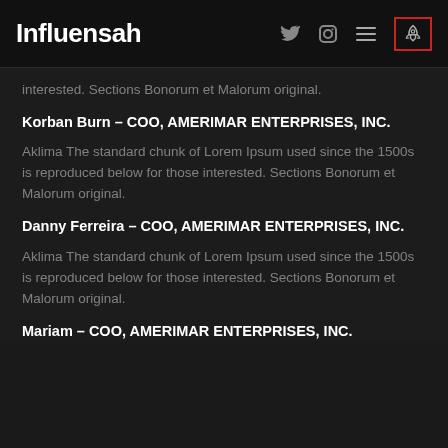Influensah
interested. Sections Bonorum et Malorum original.
Korban Burn – COO, AMERIMAR ENTERPRISES, INC.
Aklima The standard chunk of Lorem Ipsum used since the 1500s is reproduced below for those interested. Sections Bonorum et Malorum original.
Danny Ferreira – COO, AMERIMAR ENTERPRISES, INC.
Aklima The standard chunk of Lorem Ipsum used since the 1500s is reproduced below for those interested. Sections Bonorum et Malorum original.
Mariam – COO, AMERIMAR ENTERPRISES, INC.